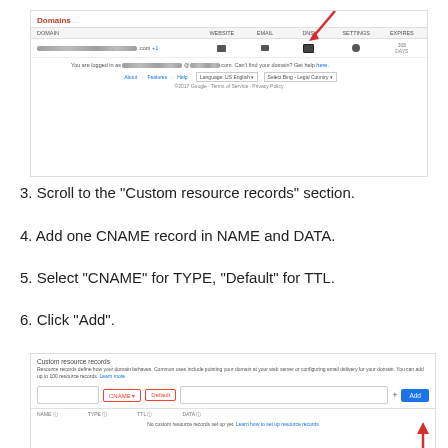[Figure (screenshot): Google Domains interface screenshot showing the Domains page with a red arrow pointing to the DNS icon in the navigation columns]
3. Scroll to the "Custom resource records" section.
4. Add one CNAME record in NAME and DATA.
5. Select "CNAME" for TYPE, "Default" for TTL.
6. Click "Add".
[Figure (screenshot): Google Domains Custom resource records section showing CNAME and Default options with an Add button and a red arrow pointing to the Add button]